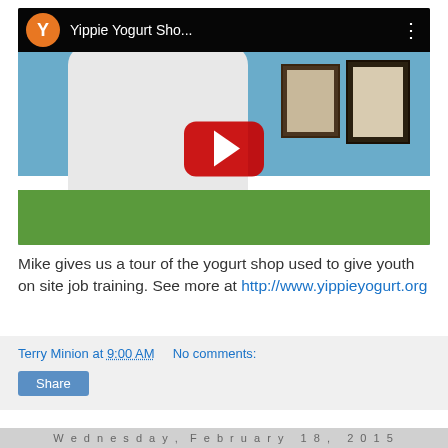[Figure (screenshot): YouTube video thumbnail showing a man giving a tour of a yogurt shop. The video is titled 'Yippie Yogurt Sho...' with an orange Y avatar icon. A red YouTube play button is centered on the video.]
Mike gives us a tour of the yogurt shop used to give youth on site job training. See more at http://www.yippieyogurt.org
Terry Minion at 9:00 AM   No comments:
Share
Wednesday, February 18, 2015